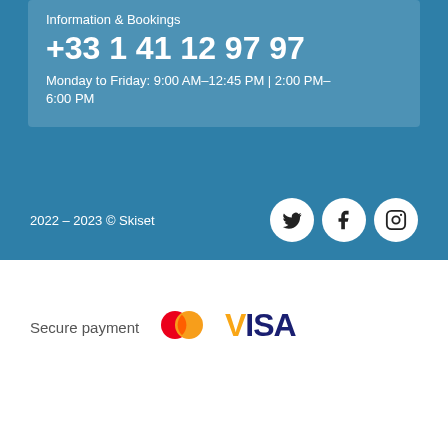Information & Bookings
+33 1 41 12 97 97
Monday to Friday: 9:00 AM–12:45 PM | 2:00 PM–6:00 PM
2022 – 2023 © Skiset
[Figure (logo): Social media icons: Twitter, Facebook, Instagram in white circles]
[Figure (logo): Secure payment logos: Mastercard and Visa]
Secure payment